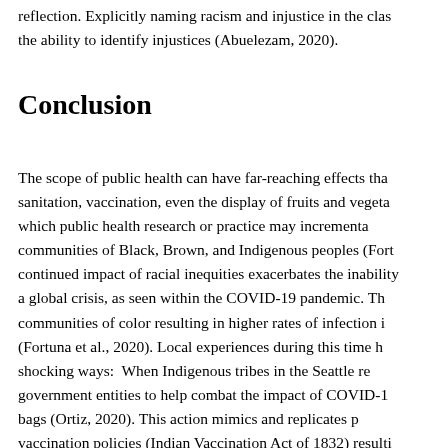reflection. Explicitly naming racism and injustice in the classroom builds the ability to identify injustices (Abuelezam, 2020).
Conclusion
The scope of public health can have far-reaching effects that include sanitation, vaccination, even the display of fruits and vegetables, all of which public health research or practice may incrementally harm communities of Black, Brown, and Indigenous peoples (Fortuna et al., 2020). The continued impact of racial inequities exacerbates the inability to respond to a global crisis, as seen within the COVID-19 pandemic. This has impacted communities of color resulting in higher rates of infection in COVID-19 (Fortuna et al., 2020). Local experiences during this time have shown up in shocking ways: When Indigenous tribes in the Seattle region contacted government entities to help combat the impact of COVID-19, they received bags (Ortiz, 2020). This action mimics and replicates past harmful vaccination policies (Indian Vaccination Act of 1832) resulti